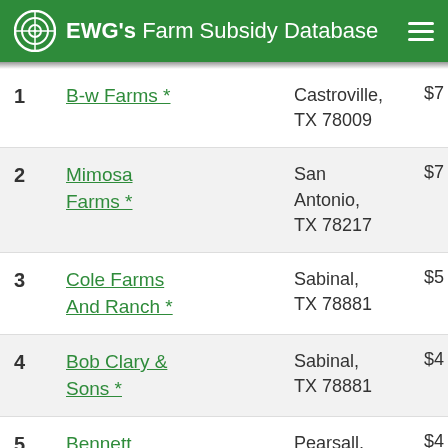EWG's Farm Subsidy Database
1 B-w Farms * Castroville, TX 78009 $7...
2 Mimosa Farms * San Antonio, TX 78217 $7...
3 Cole Farms And Ranch * Sabinal, TX 78881 $5...
4 Bob Clary & Sons * Sabinal, TX 78881 $4...
5 Bennett Partnership * Pearsall, TX 78061 $4...
6 Commodity... London...